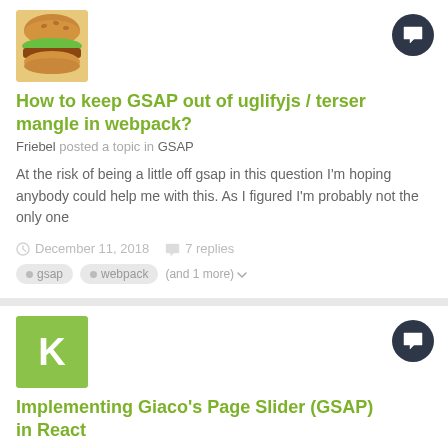[Figure (photo): Burger avatar image for user Friebel]
How to keep GSAP out of uglifyjs / terser mangle in webpack?
Friebel posted a topic in GSAP
At the risk of being a little off gsap in this question I'm hoping anybody could help me with this. As I figured I'm probably not the only one
December 11, 2018   7 replies
gsap   webpack   (and 1 more)
[Figure (other): Green letter K avatar for user Kingsley88]
Implementing Giaco's Page Slider (GSAP) in React
Kingsley88 posted a topic in GSAP
Hello everyone at GSAP. Thanks for the great ongoing job. For the past